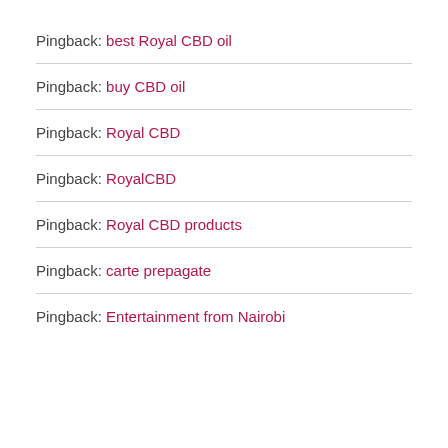Pingback: best Royal CBD oil
Pingback: buy CBD oil
Pingback: Royal CBD
Pingback: RoyalCBD
Pingback: Royal CBD products
Pingback: carte prepagate
Pingback: Entertainment from Nairobi